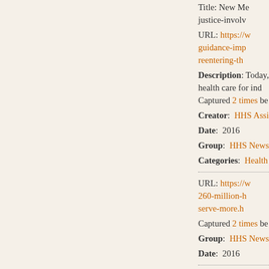Title: New Me... justice-involv...
URL: https://w... guidance-imp... reentering-th...
Description: Today, ... health care for ind... Captured 2 times be...
Creator: HHS Assi...
Date: 2016
Group: HHS News...
Categories: Health...
URL: https://w... 260-million-h... serve-more.h...
Captured 2 times be...
Group: HHS News...
Date: 2016
Title: HHS Aw... Build and Re...